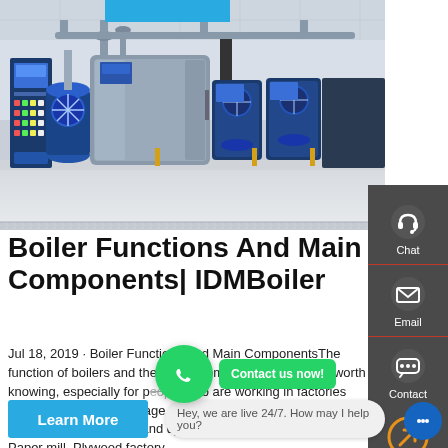[Figure (photo): Industrial boiler room with multiple blue and grey boilers arranged in a row, with control panels and piping, in a well-lit facility with white flooring.]
Boiler Functions And Main Components| IDMBoiler
Jul 18, 2019 · Boiler Functions And Main ComponentsThe function of boilers and their main components should be worth knowing, especially for people who are working in factories that use this tool. Beverage factory, Food processing industry, Textile factory, Printing and dyeing factory, Garment factory, Paper mill, Plywood factory,
[Figure (infographic): WhatsApp contact button overlay with green circle WhatsApp logo and green 'Contact us now!' badge]
[Figure (other): Right sidebar with Chat (headset icon), Email (envelope icon), and Contact icons on dark grey background]
Learn More
Hey, we are live 24/7. How may I help you?